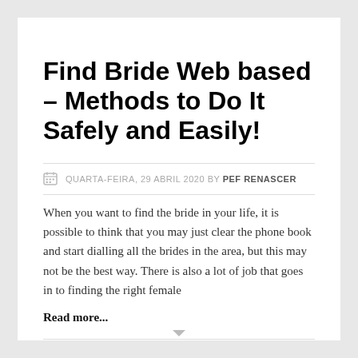Find Bride Web based – Methods to Do It Safely and Easily!
QUARTA-FEIRA, 29 ABRIL 2020 BY PEF RENASCER
When you want to find the bride in your life, it is possible to think that you may just clear the phone book and start dialling all the brides in the area, but this may not be the best way. There is also a lot of job that goes in to finding the right female
Read more...
PUBLISHED IN SEM CATEGORIA